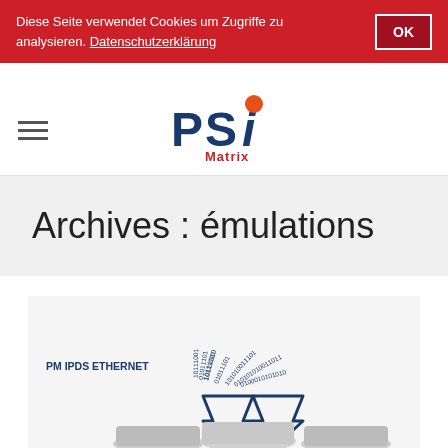Diese Seite verwendet Cookies um Zugriffe zu analysieren. Datenschutzerklärung
[Figure (logo): PSI Matrix logo with orange circle dot above the i]
Archives : émulations
[Figure (illustration): PM IPDS ETHERNET product illustration with binary numbers arcing above two downward arrows and printer devices below on light grey background]